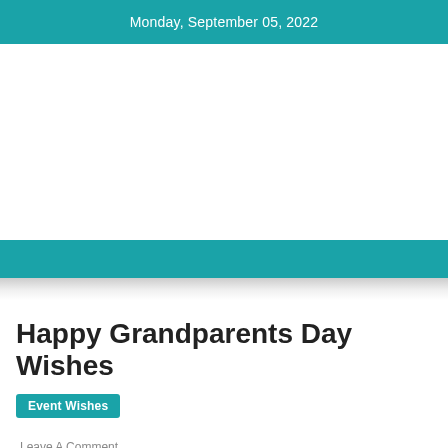Monday, September 05, 2022
Happy Grandparents Day Wishes
Event Wishes
Leave A Comment
Happy Grandparents D...